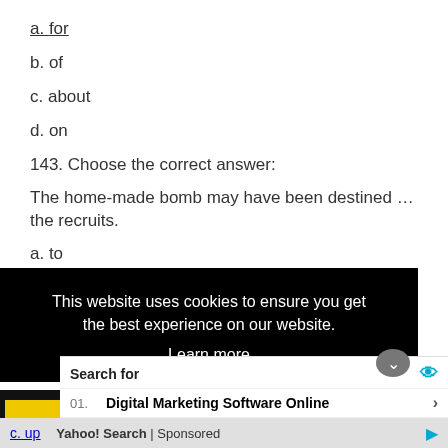a. for
b. of
c. about
d. on
143. Choose the correct answer:
The home-made bomb may have been destined … the recruits.
a. to
b. for
[Figure (screenshot): Cookie consent banner overlay on black background with text 'This website uses cookies to ensure you get the best experience on our website.' and a 'Learn more' link. Below it is a Yahoo Search sponsored ad panel with 'Search for' header and two results: 01. Digital Marketing Software Online, 02. Buy Protein Snack Bars.]
c. up